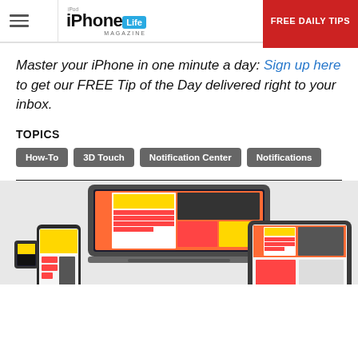iPhone Life Magazine | FREE DAILY TIPS
Master your iPhone in one minute a day: Sign up here to get our FREE Tip of the Day delivered right to your inbox.
TOPICS
How-To
3D Touch
Notification Center
Notifications
[Figure (photo): iPhone Life Magazine shown on multiple Apple devices: MacBook, iPhone, Apple Watch, and iPad, displaying a magazine cover titled 'The History of iCooker']